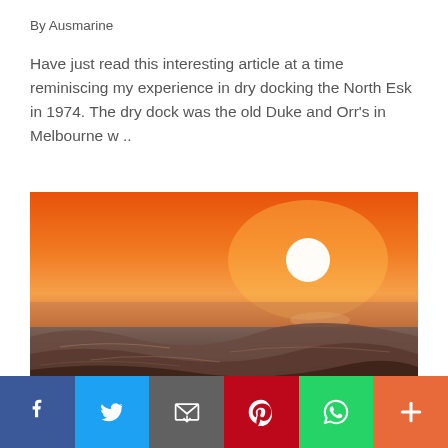By Ausmarine
Have just read this interesting article at a time reminiscing my experience in dry docking the North Esk in 1974. The dry dock was the old Duke and Orr's in Melbourne w ..
[Figure (photo): Ocean sunset photograph — close-up of ocean waves with a bright orange sky and white sun near the horizon]
Social share bar: Facebook, Twitter, Email, Pinterest, WhatsApp, More